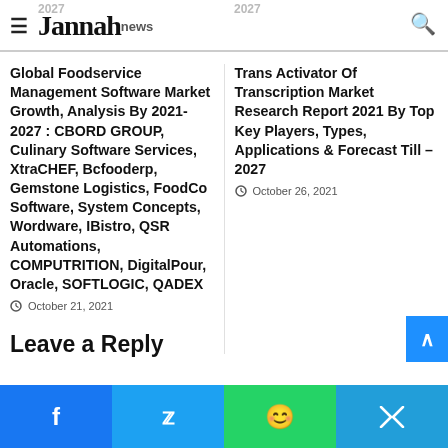Jannah news
Global Foodservice Management Software Market Growth, Analysis By 2021-2027 : CBORD GROUP, Culinary Software Services, XtraCHEF, Bcfooderp, Gemstone Logistics, FoodCo Software, System Concepts, Wordware, IBistro, QSR Automations, COMPUTRITION, DigitalPour, Oracle, SOFTLOGIC, QADEX
October 21, 2021
Trans Activator Of Transcription Market Research Report 2021 By Top Key Players, Types, Applications & Forecast Till – 2027
October 26, 2021
Leave a Reply